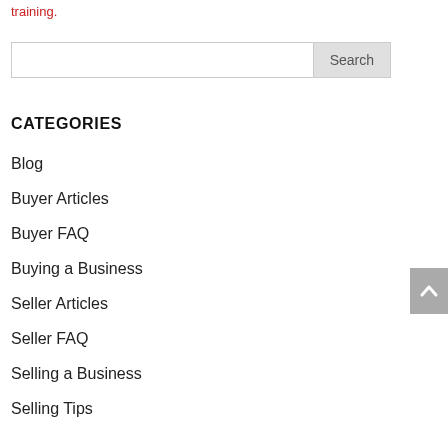training.
CATEGORIES
Blog
Buyer Articles
Buyer FAQ
Buying a Business
Seller Articles
Seller FAQ
Selling a Business
Selling Tips